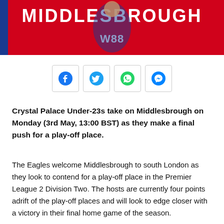[Figure (photo): Red banner with 'MIDDLESBROUGH' text and a Crystal Palace player in blue and red kit with W88 sponsor, with a blue vertical strip on the left]
[Figure (infographic): Four social media share buttons in a row: Facebook, Twitter, WhatsApp, and Messenger icons in blue circles with light border boxes]
Crystal Palace Under-23s take on Middlesbrough on Monday (3rd May, 13:00 BST) as they make a final push for a play-off place.
The Eagles welcome Middlesbrough to south London as they look to contend for a play-off place in the Premier League 2 Division Two. The hosts are currently four points adrift of the play-off places and will look to edge closer with a victory in their final home game of the season.